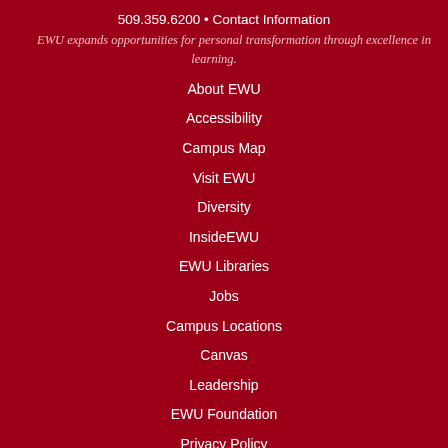509.359.6200 • Contact Information
EWU expands opportunities for personal transformation through excellence in learning.
About EWU
Accessibility
Campus Map
Visit EWU
Diversity
InsideEWU
EWU Libraries
Jobs
Campus Locations
Canvas
Leadership
EWU Foundation
Privacy Policy